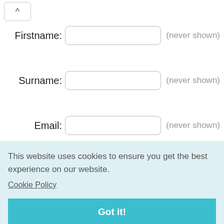^
Firstname:
(never shown)
Surname:
(never shown)
Email:
(never shown)
Nickname:
(shown)
Comment:
This website uses cookies to ensure you get the best experience on our website.
Cookie Policy
Got it!
Validate:
K A N